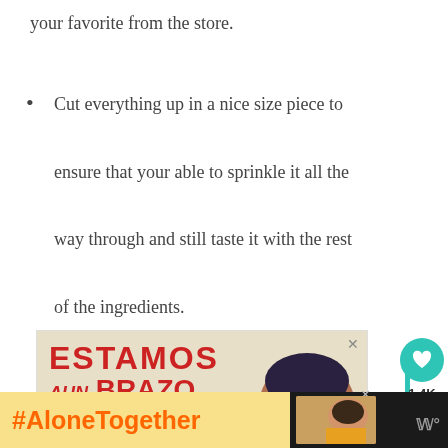your favorite from the store.
Cut everything up in a nice size piece to ensure that your able to sprinkle it all the way through and still taste it with the rest of the ingredients.
[Figure (photo): Advertisement banner reading 'ESTAMOS A UN BRAZO DE VOLVER A LOS ABRAZOS' with a woman wearing a face mask, on a tan/beige background.]
[Figure (infographic): #AloneTogether banner at the bottom with orange hashtag text on yellow background, thumbnail image of a woman eating, and dark bottom bar with logo.]